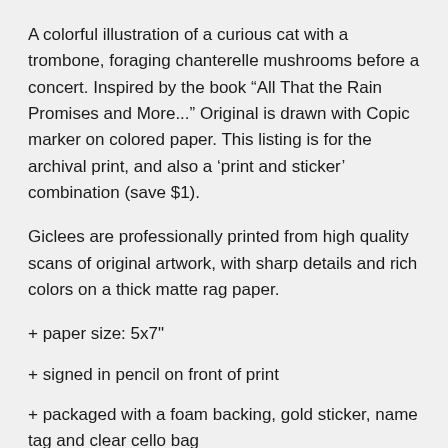A colorful illustration of a curious cat with a trombone, foraging chanterelle mushrooms before a concert. Inspired by the book “All That the Rain Promises and More...” Original is drawn with Copic marker on colored paper. This listing is for the archival print, and also a ‘print and sticker’ combination (save $1).
Giclees are professionally printed from high quality scans of original artwork, with sharp details and rich colors on a thick matte rag paper.
+ paper size: 5x7"
+ signed in pencil on front of print
+ packaged with a foam backing, gold sticker, name tag and clear cello bag